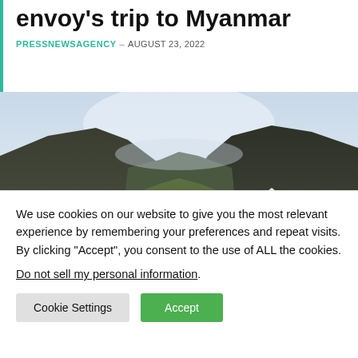envoy's trip to Myanmar
PRESSNEWSAGENCY – AUGUST 23, 2022
[Figure (photo): Landscape photo showing green mountain valley with rugged hills, overcast sky, scattered vehicles and tents in the foreground]
We use cookies on our website to give you the most relevant experience by remembering your preferences and repeat visits. By clicking “Accept”, you consent to the use of ALL the cookies.
Do not sell my personal information.
Cookie Settings  Accept